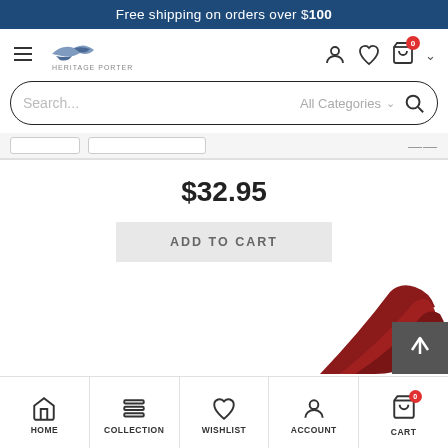Free shipping on orders over $100
[Figure (screenshot): Heritage Porter logo with eagle graphic, navigation icons (user, heart, cart with 0 badge), hamburger menu, and search bar with All Categories dropdown]
$32.95
ADD TO CART
[Figure (photo): Red rope or strap product partially visible at bottom right of content area]
HOME | COLLECTION | WISHLIST | ACCOUNT | CART